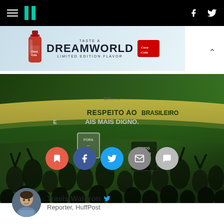HuffPost navigation bar with hamburger menu, logo, Facebook and Twitter icons
[Figure (photo): Advertisement banner: Taste a Dreamworld Limited Edition Flavor - Coca-Cola]
[Figure (photo): Protest photo showing crowd with Brazilian flags and signs reading RESPEITO AO BRASILEIRO MAIS DIGNO and VAMOS APAGAR O PT]
[Figure (infographic): Social sharing buttons: bookmark (red), Facebook (blue), Twitter (light blue), email (grey), comment (light grey)]
Travis Waldron  Reporter, HuffPost